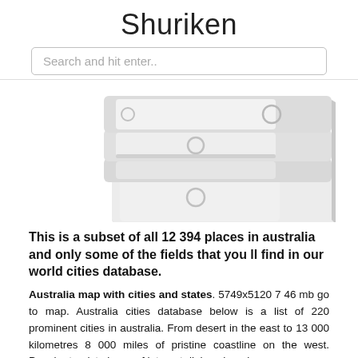Shuriken
Search and hit enter..
[Figure (illustration): A light gray illustration of a stacked binder or server unit with circular buttons and drawer handles, shown in perspective view.]
This is a subset of all 12 394 places in australia and only some of the fields that you ll find in our world cities database.
Australia map with cities and states. 5749x5120 7 46 mb go to map. Australia cities database below is a list of 220 prominent cities in australia. From desert in the east to 13 000 kilometres 8 000 miles of pristine coastline on the west. Popular tourist places of interest dining shopping